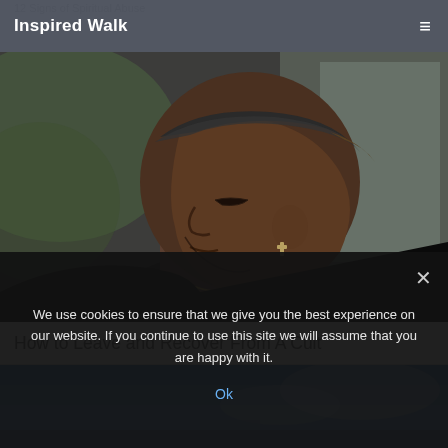12 Signs of Spiritual Abuse
Inspired Walk
[Figure (photo): Side profile of a young Black man with a cross earring, chain necklace, and bandana headband, eyes closed, looking downward, photographed outdoors with blurred background]
How to Leave and Recover From A Cult
[Figure (photo): Partial view of a second article thumbnail showing a blue sky background]
We use cookies to ensure that we give you the best experience on our website. If you continue to use this site we will assume that you are happy with it.
Ok